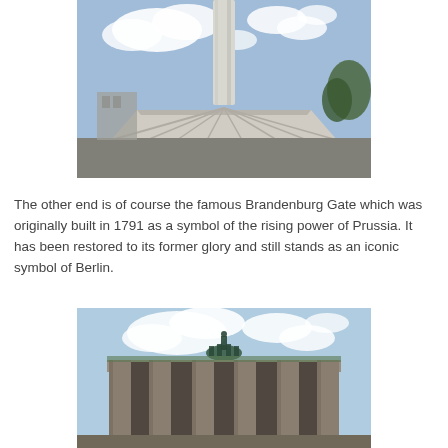[Figure (photo): Photograph of a tall obelisk or column monument with a wide base structure, photographed from below against a cloudy blue sky with a green tree visible on the right side.]
The other end is of course the famous Brandenburg Gate which was originally built in 1791 as a symbol of the rising power of Prussia. It has been restored to its former glory and still stands as an iconic symbol of Berlin.
[Figure (photo): Photograph of the Brandenburg Gate in Berlin, showing its classical columns and the Quadriga sculpture on top, photographed against a partly cloudy sky.]